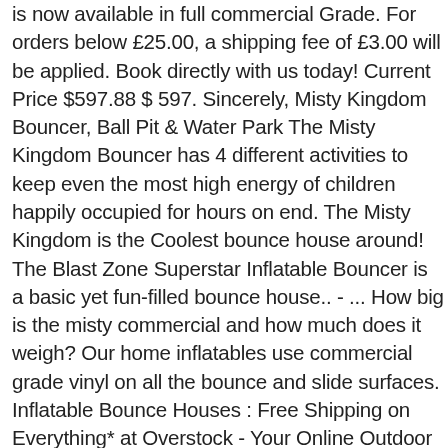is now available in full commercial Grade. For orders below £25.00, a shipping fee of £3.00 will be applied. Book directly with us today! Current Price $597.88 $ 597. Sincerely, Misty Kingdom Bouncer, Ball Pit & Water Park The Misty Kingdom Bouncer has 4 different activities to keep even the most high energy of children happily occupied for hours on end. The Misty Kingdom is the Coolest bounce house around! The Blast Zone Superstar Inflatable Bouncer is a basic yet fun-filled bounce house.. - ... How big is the misty commercial and how much does it weigh? Our home inflatables use commercial grade vinyl on all the bounce and slide surfaces. Inflatable Bounce Houses : Free Shipping on Everything* at Overstock - Your Online Outdoor Play Store! I love this bouncer. All commercial grade blowers come with a 25 foot cord length. Order came on time. $349.99 #24. Blast Zone Support, Dear Jimmy, This fun attraction inflates in less than two minutes, making it quickly ready to go for hours entertainment right in your own backyard. From £29.12/mo. This inflatable has appeal and style!!! We Offer A Large Selection with a Price Guarantee and Free Shipping